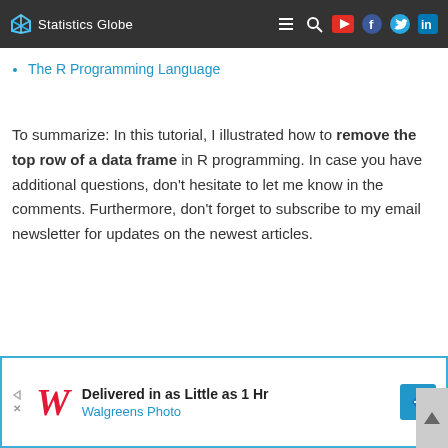Statistics Globe
The R Programming Language
To summarize: In this tutorial, I illustrated how to remove the top row of a data frame in R programming. In case you have additional questions, don't hesitate to let me know in the comments. Furthermore, don't forget to subscribe to my email newsletter for updates on the newest articles.
[Figure (infographic): Advertisement banner for Walgreens Photo: 'Delivered in as Little as 1 Hr' with Walgreens cursive W logo and blue direction sign icon]